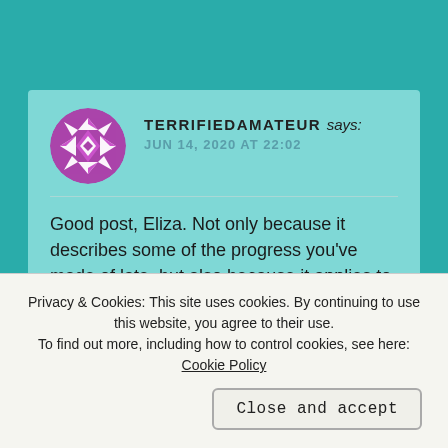TERRIFIEDAMATEUR says: JUN 14, 2020 AT 22:02
Good post, Eliza. Not only because it describes some of the progress you've made of late, but also because it applies to everyone. To each and every one of us.
While lines, some gossamer, others gaping, lace our choices, we also have the means to patch them. It's our
Privacy & Cookies: This site uses cookies. By continuing to use this website, you agree to their use.
To find out more, including how to control cookies, see here: Cookie Policy
Close and accept